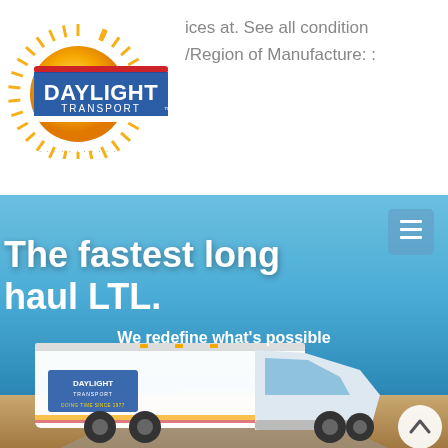[Figure (logo): Daylight Transport logo with yellow sunburst and blue/red wordmark]
ices at. See all condition
/Region of Manufacture: :
[Figure (screenshot): Daylight Transport website hero section with hamburger menu button, headline 'The fastest long haul LTL.', subtitle 'We redefine what's possible', and a semi-truck photo on a blue sky background]